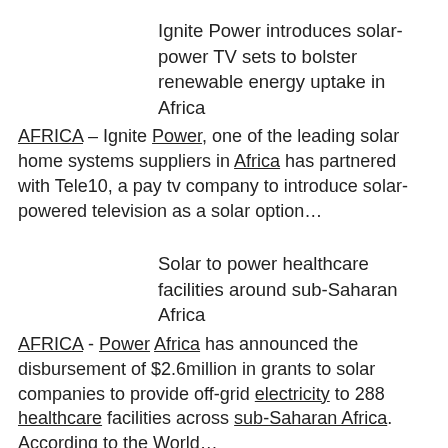Ignite Power introduces solar-power TV sets to bolster renewable energy uptake in Africa
AFRICA – Ignite Power, one of the leading solar home systems suppliers in Africa has partnered with Tele10, a pay tv company to introduce solar-powered television as a solar option…
Solar to power healthcare facilities around sub-Saharan Africa
AFRICA - Power Africa has announced the disbursement of $2.6million in grants to solar companies to provide off-grid electricity to 288 healthcare facilities across sub-Saharan Africa. According to the World…